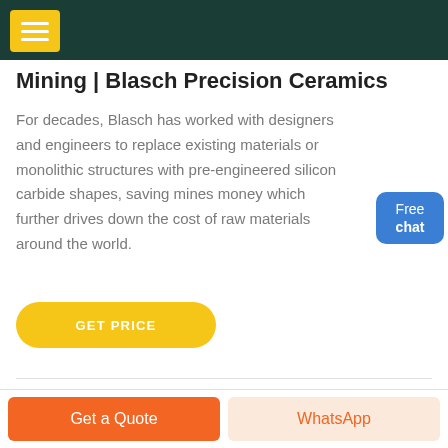Mining | Blasch Precision Ceramics
For decades, Blasch has worked with designers and engineers to replace existing materials or monolithic structures with pre-engineered silicon carbide shapes, saving mines money which further drives down the cost of raw materials around the world.
[Figure (other): Free chat widget button with blue background and person illustration]
GET PRICE
Get a Quote
WhatsApp